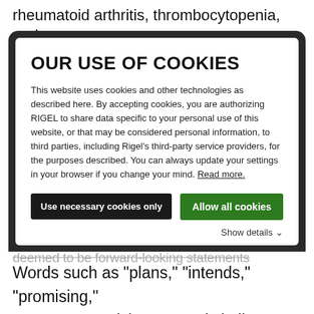rheumatoid arthritis, thrombocytopenia, and
OUR USE OF COOKIES
This website uses cookies and other technologies as described here. By accepting cookies, you are authorizing RIGEL to share data specific to your personal use of this website, or that may be considered personal information, to third parties, including Rigel's third-party service providers, for the purposes described. You can always update your settings in your browser if you change your mind. Read more.
Use necessary cookies only
Allow all cookies
Show details
deemed to be forward-looking statements
Words such as "plans," "intends," "promising," "expects," "anticipates" and similar expressions are intended to identify these forward-looking